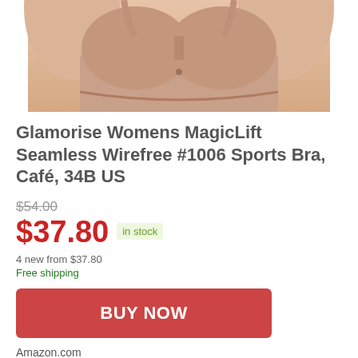[Figure (photo): Product photo of a nude/café colored seamless wirefree sports bra on a model, cropped to show torso only]
Glamorise Womens MagicLift Seamless Wirefree #1006 Sports Bra, Café, 34B US
$54.00 (strikethrough original price)
$37.80  in stock
4 new from $37.80
Free shipping
BUY NOW
Amazon.com
as of August 23, 2022 2:08 pm ℹ